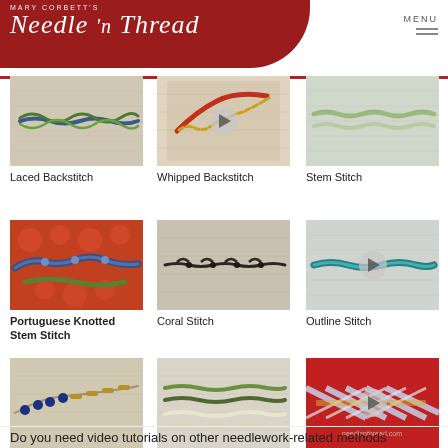Mary Corbett's Needle 'n Thread
[Figure (photo): Close-up of Laced Backstitch embroidery with blue and green thread on fabric]
Laced Backstitch
[Figure (photo): Close-up of Whipped Backstitch embroidery with red and gold thread on fabric, with video play button]
Whipped Backstitch
[Figure (photo): Close-up of Stem Stitch embroidery with green/white thread on fabric]
Stem Stitch
[Figure (photo): Close-up of Portuguese Knotted Stem Stitch embroidery with blue thread on colorful fabric]
Portuguese Knotted Stem Stitch
[Figure (photo): Close-up of Coral Stitch embroidery with dark thread on fabric]
Coral Stitch
[Figure (photo): Close-up of Outline Stitch embroidery with teal/blue thread, with video play button]
Outline Stitch
[Figure (photo): Close-up of Couching embroidery with blue beads on fabric]
Couching
[Figure (photo): Close-up of Split Stitch embroidery with green/cream thread on fabric]
Split Stitch
[Figure (photo): Close-up of Herringbone Stitch embroidery with blue ribbon on red fabric, with video play button and needlenthread.com watermark]
Herringbone Stitch
Do you need video tutorials on other needlework-related methods